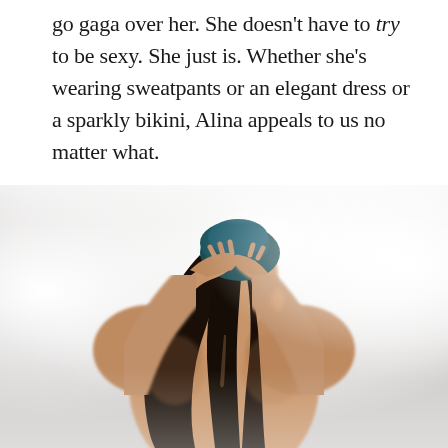go gaga over her. She doesn't have to try to be sexy. She just is. Whether she's wearing sweatpants or an elegant dress or a sparkly bikini, Alina appeals to us no matter what.
[Figure (photo): A woman with long dark hair, viewed from behind, with her hands raised to her head. The image is high-key with bright white background lighting, emphasizing her muscular back.]